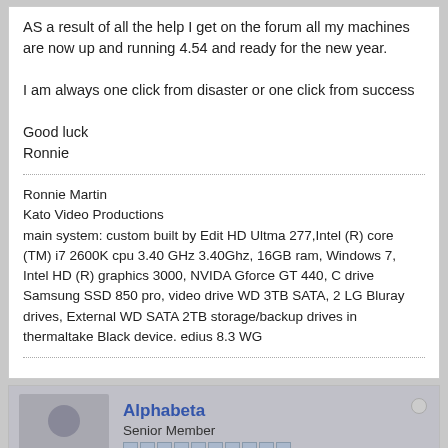AS a result of all the help I get on the forum all my machines are now up and running 4.54 and ready for the new year.

I am always one click from disaster or one click from success

Good luck
Ronnie
Ronnie Martin
Kato Video Productions
main system: custom built by Edit HD Ultma 277,Intel (R) core (TM) i7 2600K cpu 3.40 GHz 3.40Ghz, 16GB ram, Windows 7, Intel HD (R) graphics 3000, NVIDA Gforce GT 440, C drive Samsung SSD 850 pro, video drive WD 3TB SATA, 2 LG Bluray drives, External WD SATA 2TB storage/backup drives in thermaltake Black device. edius 8.3 WG
Alphabeta
Senior Member
Join Date: Aug 2007    Posts: 136
01-05-2008, 04:36 PM
#4